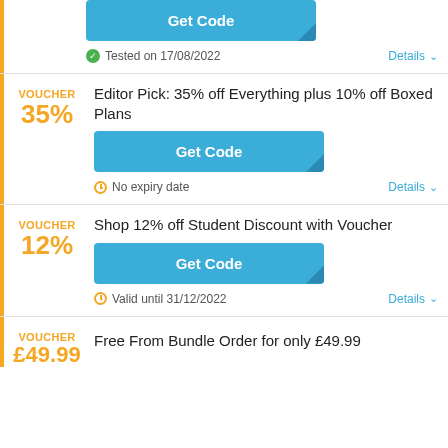[Figure (screenshot): Top partial coupon card showing a 'Get Code' button and 'Tested on 17/08/2022' with Details link]
Voucher 35% — Editor Pick: 35% off Everything plus 10% off Boxed Plans — Get Code — No expiry date — Details
Voucher 12% — Shop 12% off Student Discount with Voucher — Get Code — Valid until 31/12/2022 — Details
Voucher £49.99 — Free From Bundle Order for only £49.99